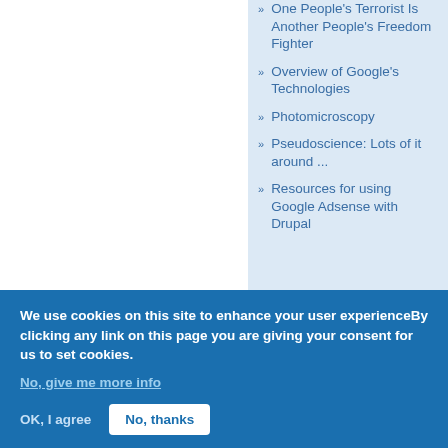One People's Terrorist Is Another People's Freedom Fighter
Overview of Google's Technologies
Photomicroscopy
Pseudoscience: Lots of it around ...
Resources for using Google Adsense with Drupal
We use cookies on this site to enhance your user experienceBy clicking any link on this page you are giving your consent for us to set cookies.
No, give me more info
OK, I agree
No, thanks